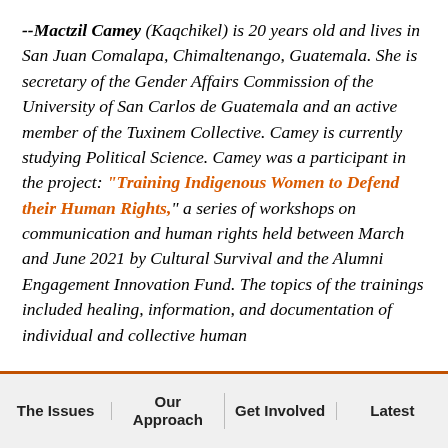--Mactzil Camey (Kaqchikel) is 20 years old and lives in San Juan Comalapa, Chimaltenango, Guatemala. She is secretary of the Gender Affairs Commission of the University of San Carlos de Guatemala and an active member of the Tuxinem Collective. Camey is currently studying Political Science. Camey was a participant in the project: "Training Indigenous Women to Defend their Human Rights," a series of workshops on communication and human rights held between March and June 2021 by Cultural Survival and the Alumni Engagement Innovation Fund. The topics of the trainings included healing, information, and documentation of individual and collective human
The Issues | Our Approach | Get Involved | Latest